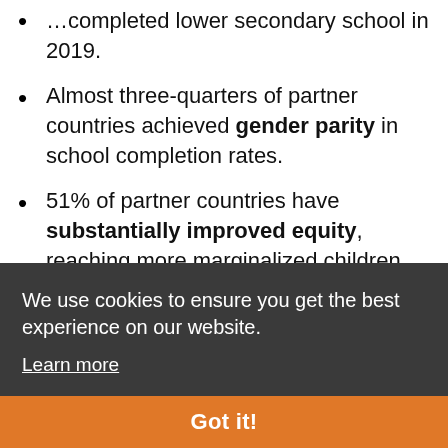…completed lower secondary school in 2019.
Almost three-quarters of partner countries achieved gender parity in school completion rates.
51% of partner countries have substantially improved equity, reaching more marginalized children, up from 32% in 2015.
70% of partner countries increased their share of education expenditure…
We use cookies to ensure you get the best experience on our website. Learn more
Got it!